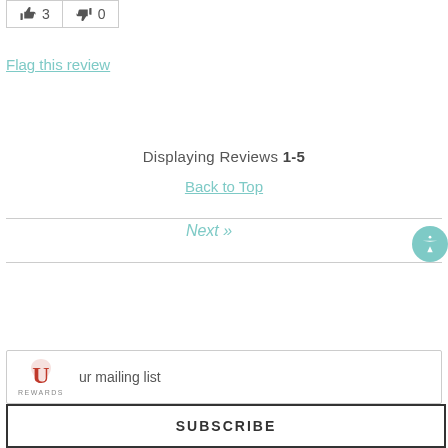[Figure (other): Thumbs up icon with count 3 and thumbs down icon with count 0 in a bordered box]
Flag this review
Displaying Reviews 1-5
Back to Top
Next »
ur mailing list
SUBSCRIBE